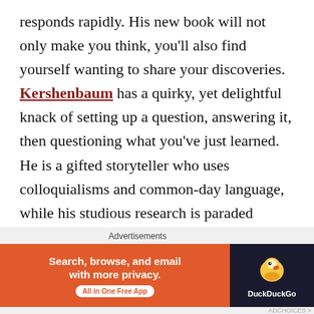responds rapidly. His new book will not only make you think, you'll also find yourself wanting to share your discoveries. Kershenbaum has a quirky, yet delightful knack of setting up a question, answering it, then questioning what you've just learned. He is a gifted storyteller who uses colloquialisms and common-day language, while his studious research is paraded before us without a hint of laborious, long-winded academia. The book gallops along at an agreeable speed, yet never once do you feel the author is only giving you a
Advertisements
[Figure (infographic): DuckDuckGo advertisement banner: orange left panel with text 'Search, browse, and email with more privacy. All in One Free App', dark right panel with DuckDuckGo duck logo and brand name.]